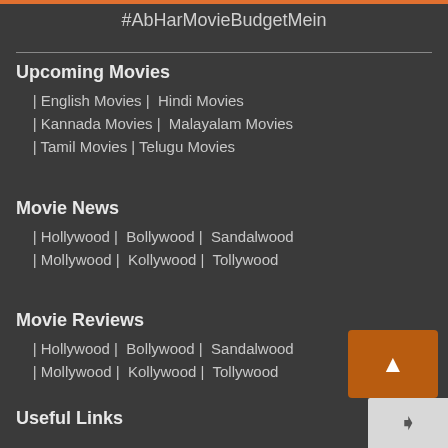#AbHarMovieBudgetMein
Upcoming Movies
| English Movies | Hindi Movies
| Kannada Movies | Malayalam Movies
| Tamil Movies | Telugu Movies
Movie News
| Hollywood | Bollywood | Sandalwood
| Mollywood | Kollywood | Tollywood
Movie Reviews
| Hollywood | Bollywood | Sandalwood
| Mollywood | Kollywood | Tollywood
Useful Links